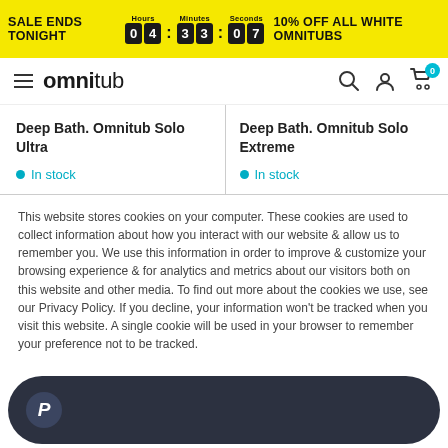SALE ENDS TONIGHT 04 33 07 10% OFF ALL WHITE OMNITUBS
[Figure (logo): Omnitub logo with hamburger menu, search, account, and cart icons]
Deep Bath. Omnitub Solo Ultra
In stock
Deep Bath. Omnitub Solo Extreme
In stock
This website stores cookies on your computer. These cookies are used to collect information about how you interact with our website & allow us to remember you. We use this information in order to improve & customize your browsing experience & for analytics and metrics about our visitors both on this website and other media. To find out more about the cookies we use, see our Privacy Policy. If you decline, your information won't be tracked when you visit this website. A single cookie will be used in your browser to remember your preference not to be tracked.
[Figure (other): PayPal dark button with P icon]